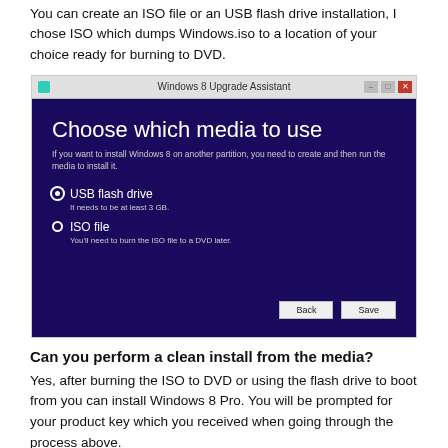You can create an ISO file or an USB flash drive installation, I chose ISO which dumps Windows.iso to a location of your choice ready for burning to DVD.
[Figure (screenshot): Windows 8 Upgrade Assistant dialog showing 'Choose which media to use' screen with options for USB flash drive and ISO file, with Back and Save buttons at bottom.]
Can you perform a clean install from the media?
Yes, after burning the ISO to DVD or using the flash drive to boot from you can install Windows 8 Pro. You will be prompted for your product key which you received when going through the process above.